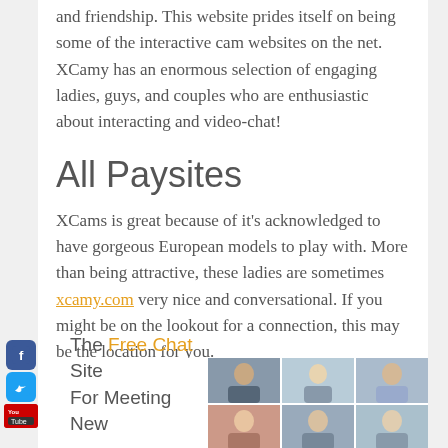and friendship. This website prides itself on being some of the interactive cam websites on the net. XCamy has an enormous selection of engaging ladies, guys, and couples who are enthusiastic about interacting and video-chat!
All Paysites
XCams is great because of it's acknowledged to have gorgeous European models to play with. More than being attractive, these ladies are sometimes xcamy.com very nice and conversational. If you might be on the lookout for a connection, this may be the location for you.
[Figure (infographic): Bottom banner showing 'The Free Chat Site For Meeting New' text with a photo grid of people]